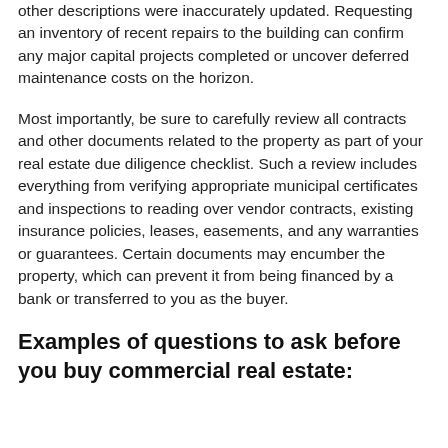other descriptions were inaccurately updated. Requesting an inventory of recent repairs to the building can confirm any major capital projects completed or uncover deferred maintenance costs on the horizon.
Most importantly, be sure to carefully review all contracts and other documents related to the property as part of your real estate due diligence checklist. Such a review includes everything from verifying appropriate municipal certificates and inspections to reading over vendor contracts, existing insurance policies, leases, easements, and any warranties or guarantees. Certain documents may encumber the property, which can prevent it from being financed by a bank or transferred to you as the buyer.
Examples of questions to ask before you buy commercial real estate: